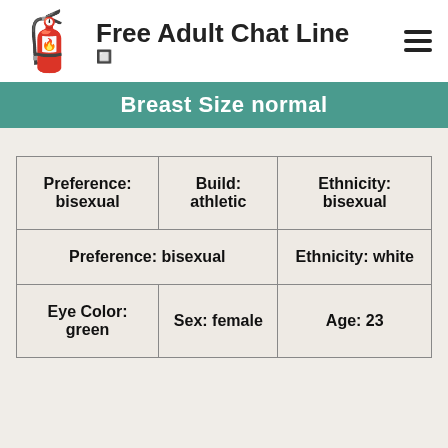Free Adult Chat Line 🔲
Breast Size normal
| Preference: bisexual | Build: athletic | Ethnicity: bisexual |
| Preference: bisexual | Ethnicity: white |
| Eye Color: green | Sex: female | Age: 23 |